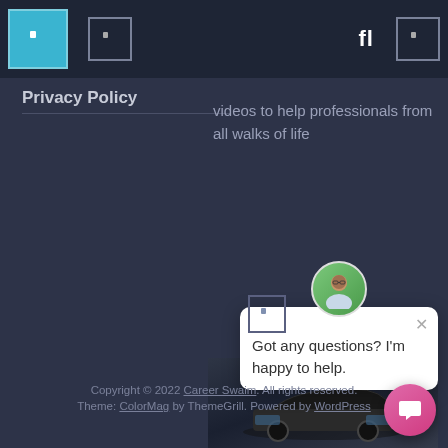Navigation bar with icons
Privacy Policy
videos to help professionals from all walks of life
[Figure (screenshot): Video player thumbnail showing a car with playback controls: play button, 00:1 time, progress bar, 00:4 time, fullscreen button]
[Figure (photo): Chat popup with avatar photo of a man, close button X, and text: Got any questions? I'm happy to help.]
Copyright © 2022 Career Swaim. All rights reserved. Theme: ColorMag by ThemeGrill. Powered by WordPress